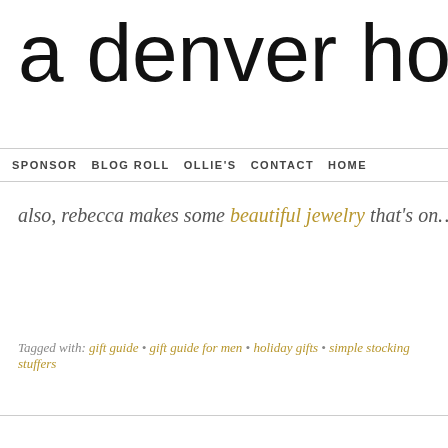a denver home c
SPONSOR   BLOG ROLL   OLLIE'S   CONTACT   HOME
also, rebecca makes some beautiful jewelry that's on...
Tagged with: gift guide • gift guide for men • holiday gifts • simple stocking stuffers